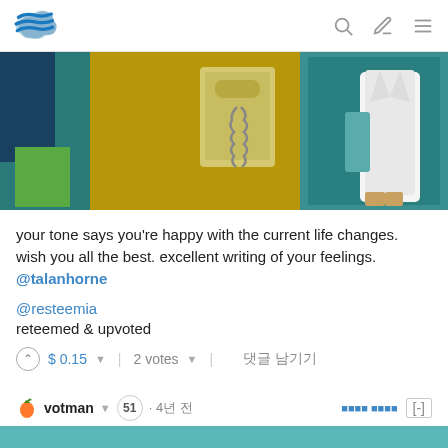Steemit navigation bar with logo, search, edit, and menu icons
[Figure (screenshot): Animated scene showing a wall-mounted telephone with a coiled cord, teal/brown wall colors, and a figure in a white coat on the right side]
your tone says you're happy with the current life changes. wish you all the best. excellent writing of your feelings. @talanhorne
@resteemia
reteemed & upvoted
$ 0.15  |  2 votes  |  댓글 남기기
votman  51 · 4년 전
A good thought to document your publications & way you reach it. it can be another book when you are famous.